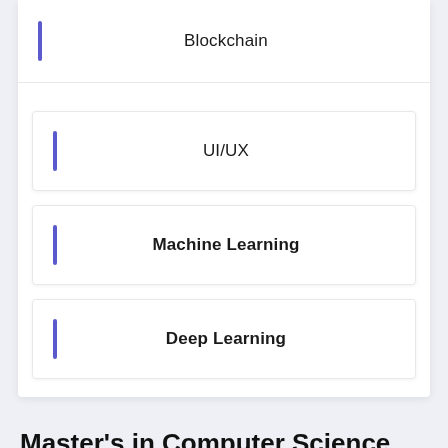Blockchain
UI/UX
Machine Learning
Deep Learning
Master's in Computer Science Course Content